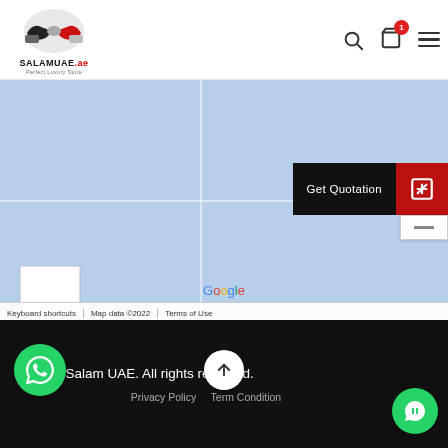[Figure (logo): SALAMUAE.ae logo with handshake image and tagline 'Perfect Luxury Store']
[Figure (screenshot): Google Maps embedded view showing light blue map area with Get Quotation button overlay, map controls, Google watermark, and bottom bar with Keyboard shortcuts, Map data 2022, Terms of Use]
© 2022 Salam UAE. All rights reserved.
Privacy Policy   Term Condition